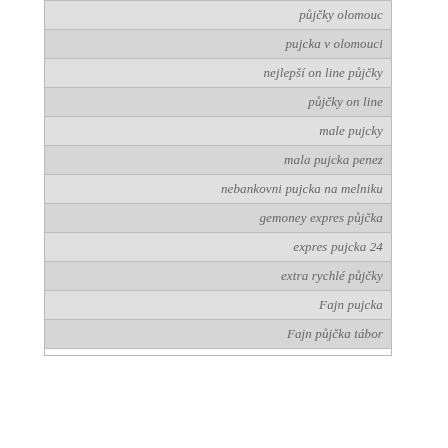| půjčky olomouc |
| pujcka v olomouci |
| nejlepší on line půjčky |
| půjčky on line |
| male pujcky |
| mala pujcka penez |
| nebankovni pujcka na melniku |
| gemoney expres půjčka |
| expres pujcka 24 |
| extra rychlé půjčky |
| Fajn pujcka |
| Fajn půjčka tábor |